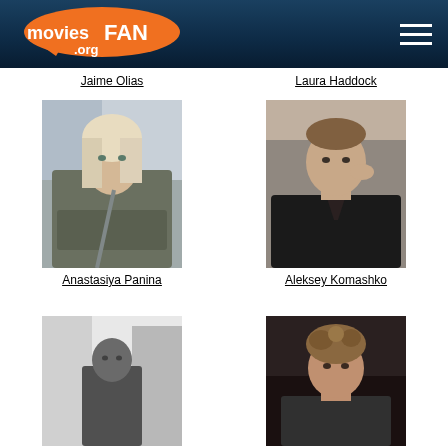[Figure (logo): moviesFAN.org logo on dark blue header background with hamburger menu icon]
Jaime Olias
Laura Haddock
[Figure (photo): Blonde woman with arms crossed wearing brown jacket, standing outdoors]
Anastasiya Panina
[Figure (photo): Young man in black shirt leaning head on hand, studio photo]
Aleksey Komashko
[Figure (photo): Black and white photo of bald man standing outdoors near building]
[Figure (photo): Young man with tousled hair, studio photo with dark background]